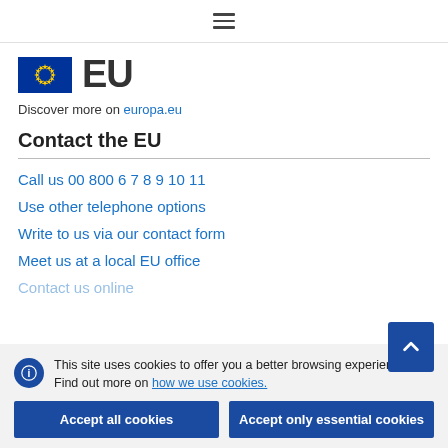≡ (hamburger menu icon)
[Figure (logo): EU flag and 'EU' text logo]
Discover more on europa.eu
Contact the EU
Call us 00 800 6 7 8 9 10 11
Use other telephone options
Write to us via our contact form
Meet us at a local EU office
This site uses cookies to offer you a better browsing experience. Find out more on how we use cookies.
Accept all cookies | Accept only essential cookies